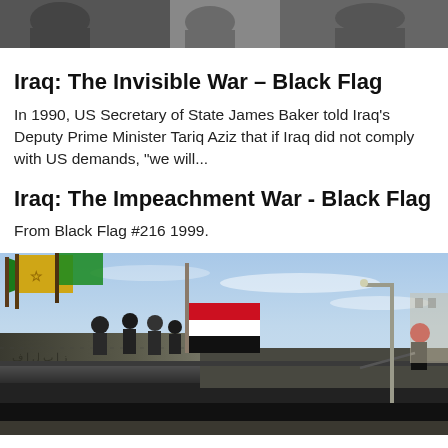[Figure (photo): Top cropped photo of people, partial grayscale image at top of page]
Iraq: The Invisible War – Black Flag
In 1990, US Secretary of State James Baker told Iraq's Deputy Prime Minister Tariq Aziz that if Iraq did not comply with US demands, "we will...
Iraq: The Impeachment War - Black Flag
From Black Flag #216 1999.
[Figure (photo): Photo of protesters on a bridge/overpass waving Iraqi and other flags including yellow Hezbollah-style flags, taken from street level looking up, blue sky background]